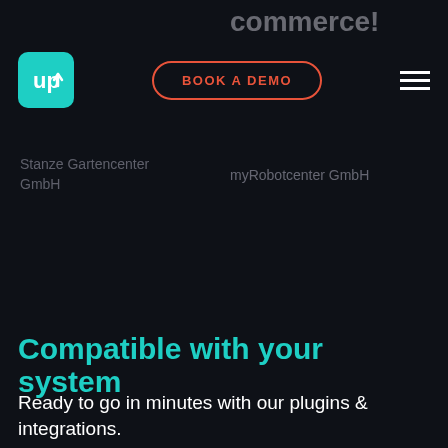commerce!
[Figure (logo): UP logo – teal/cyan rounded square with white 'up' arrow icon]
BOOK A DEMO
[Figure (other): Hamburger menu icon (three white horizontal lines)]
Stanze Gartencenter GmbH
myRobotcenter GmbH
Compatible with your system
Ready to go in minutes with our plugins & integrations.